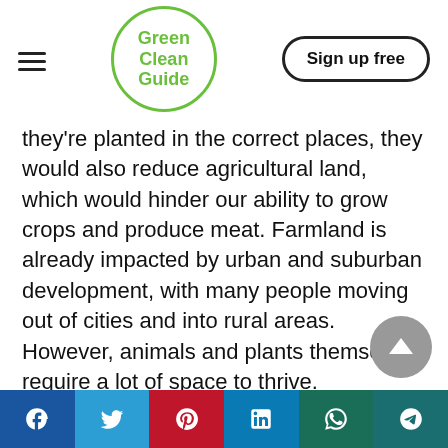Green Clean Guide | Sign up free
they're planted in the correct places, they would also reduce agricultural land, which would hinder our ability to grow crops and produce meat. Farmland is already impacted by urban and suburban development, with many people moving out of cities and into rural areas. However, animals and plants themselves require a lot of space to thrive.
For example, a single 1,000-pound cow
Facebook | Twitter | Pinterest | LinkedIn | WhatsApp | Telegram